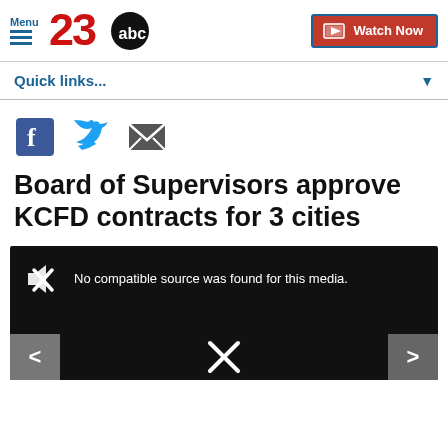Menu | 23 ABC | Watch Now
Quick links...
[Figure (screenshot): Social share icons: Facebook, Twitter, Email]
Board of Supervisors approve KCFD contracts for 3 cities
[Figure (screenshot): Video media player with black background showing: No compatible source was found for this media. Navigation arrows on bottom left and right.]